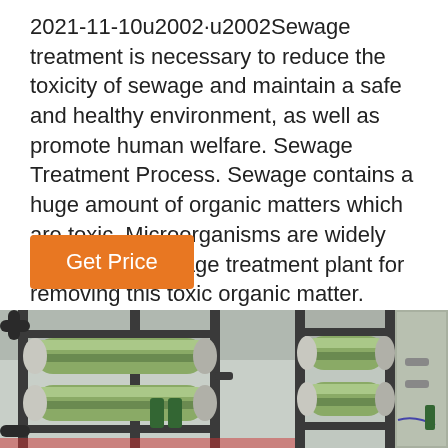2021-11-10u2002·u2002Sewage treatment is necessary to reduce the toxicity of sewage and maintain a safe and healthy environment, as well as promote human welfare. Sewage Treatment Process. Sewage contains a huge amount of organic matters which are toxic. Microorganisms are widely used in the sewage treatment plant for removing this toxic organic matter.
Get Price
[Figure (photo): Two side-by-side photos of industrial sewage/water treatment machinery showing metal pipes and cylindrical filter vessels mounted on a frame in a facility.]